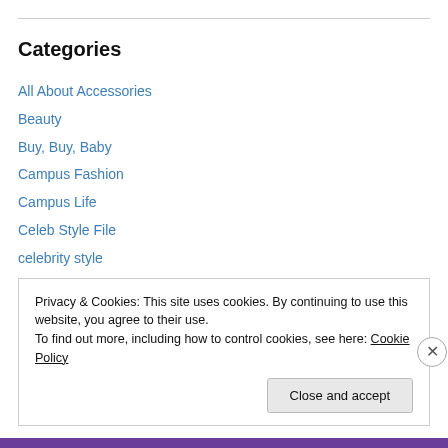Categories
All About Accessories
Beauty
Buy, Buy, Baby
Campus Fashion
Campus Life
Celeb Style File
celebrity style
Classic with a Twist
Designer on a Discount
Privacy & Cookies: This site uses cookies. By continuing to use this website, you agree to their use.
To find out more, including how to control cookies, see here: Cookie Policy
Close and accept